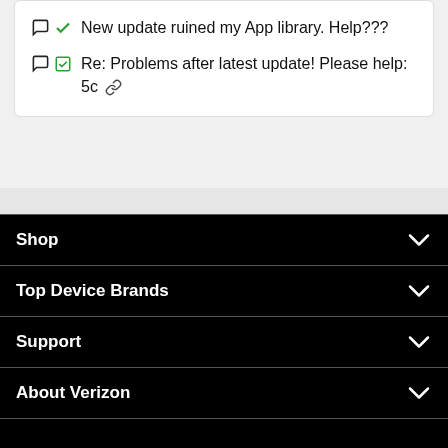New update ruined my App library. Help???
Re: Problems after latest update! Please help: 5c
Shop
Top Device Brands
Support
About Verizon